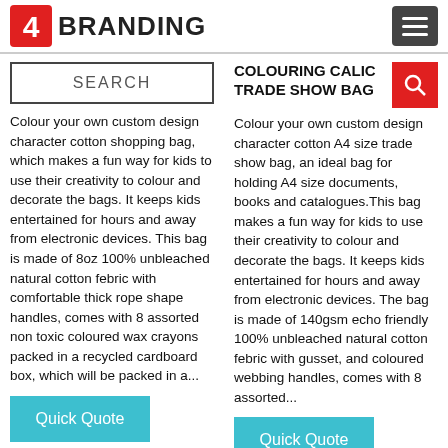4 BRANDING
SEARCH
COLOURING CALICO TRADE SHOW BAG
Colour your own custom design character cotton shopping bag, which makes a fun way for kids to use their creativity to colour and decorate the bags. It keeps kids entertained for hours and away from electronic devices. This bag is made of 8oz 100% unbleached natural cotton febric with comfortable thick rope shape handles, comes with 8 assorted non toxic coloured wax crayons packed in a recycled cardboard box, which will be packed in a...
Colour your own custom design character cotton A4 size trade show bag, an ideal bag for holding A4 size documents, books and catalogues.This bag makes a fun way for kids to use their creativity to colour and decorate the bags. It keeps kids entertained for hours and away from electronic devices. The bag is made of 140gsm echo friendly 100% unbleached natural cotton febric with gusset, and coloured webbing handles, comes with 8 assorted...
Quick Quote
Quick Quote